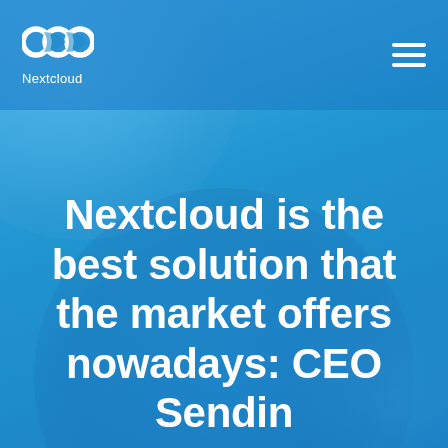Nextcloud [logo]
Nextcloud is the best solution that the market offers nowadays: CEO Sendin